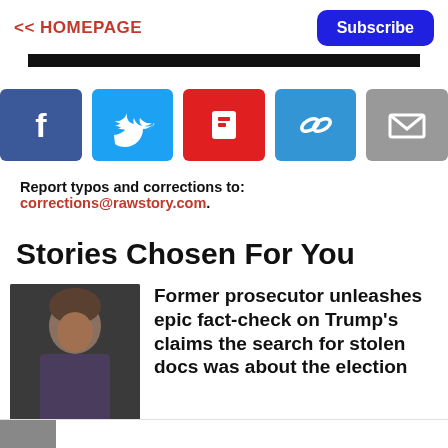<< HOMEPAGE | Subscribe
[Figure (other): Social share buttons: Facebook, Twitter, Flipboard, Link, Email]
Report typos and corrections to: corrections@rawstory.com.
Stories Chosen For You
[Figure (photo): Photo of a man in a suit, appears to be a TV commentator or legal analyst]
Former prosecutor unleashes epic fact-check on Trump's claims the search for stolen docs was about the election